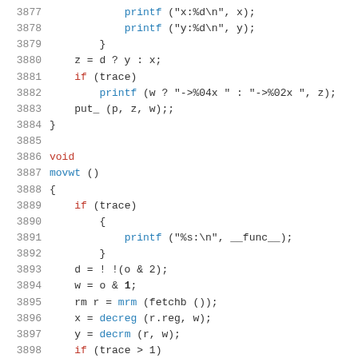Code listing lines 3877-3898 showing C source code with printf, void, movwt function definition